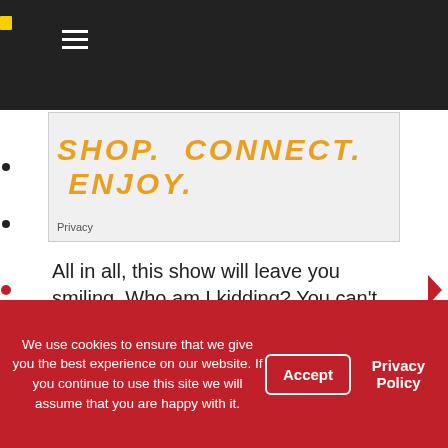☰
[Figure (screenshot): Partial image with orange bold italic text reading 'SHOP. CONNECT. ENJOY.' with a Privacy label at bottom left]
All in all, this show will leave you smiling. Who am I kidding? You can't make it a minute without smiling! The Festival of the Lion King is the most liked show in the house and I hope it is in yours!
Here's a question for you guys: What's your favorite show at any of the Disney parks?
We use cookies to ensure that we give you the best experience on our website. If you continue to use this site we will assume that you are happy with it.